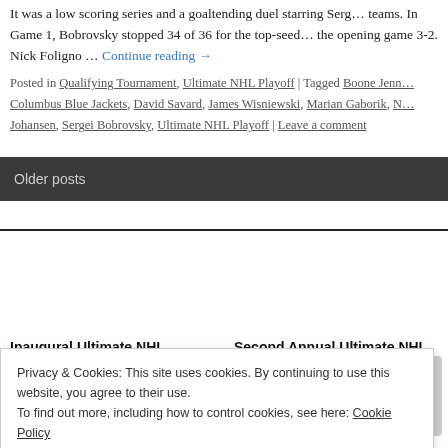It was a low scoring series and a goaltending duel starring Serg… teams. In Game 1, Bobrovsky stopped 34 of 36 for the top-seed… the opening game 3-2. Nick Foligno … Continue reading →
Posted in Qualifying Tournament, Ultimate NHL Playoff | Tagged Boone Jenn… Columbus Blue Jackets, David Savard, James Wisniewski, Marian Gaborik, N… Johansen, Sergei Bobrovsky, Ultimate NHL Playoff | Leave a comment
Older posts
Inaugural Ultimate NHL Playoff Bracket
Second Annual Ultimate NHL Playoff
Privacy & Cookies: This site uses cookies. By continuing to use this website, you agree to their use.
To find out more, including how to control cookies, see here: Cookie Policy